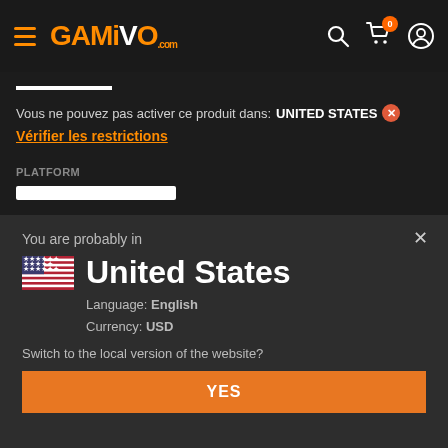[Figure (screenshot): GAMIVO website navbar with hamburger menu, orange GAMIVO.com logo, search icon, cart icon with badge 0, and user icon]
Vous ne pouvez pas activer ce produit dans: UNITED STATES ✕
Vérifier les restrictions
PLATFORM
You are probably in
United States
Language: English
Currency: USD
Switch to the local version of the website?
YES